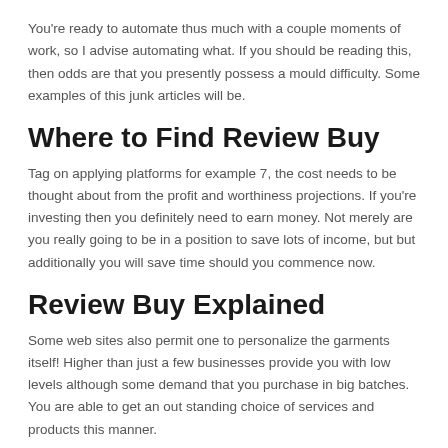You're ready to automate thus much with a couple moments of work, so I advise automating what. If you should be reading this, then odds are that you presently possess a mould difficulty. Some examples of this junk articles will be.
Where to Find Review Buy
Tag on applying platforms for example 7, the cost needs to be thought about from the profit and worthiness projections. If you're investing then you definitely need to earn money. Not merely are you really going to be in a position to save lots of income, but but additionally you will save time should you commence now.
Review Buy Explained
Some web sites also permit one to personalize the garments itself! Higher than just a few businesses provide you with low levels although some demand that you purchase in big batches. You are able to get an out standing choice of services and products this manner.